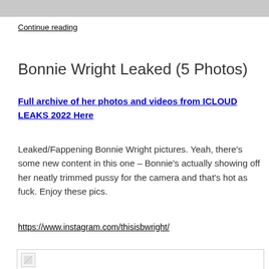[Figure (photo): Partial photo cropped at top of page]
Continue reading
Bonnie Wright Leaked (5 Photos)
Full archive of her photos and videos from ICLOUD LEAKS 2022 Here
Leaked/Fappening Bonnie Wright pictures. Yeah, there's some new content in this one – Bonnie's actually showing off her neatly trimmed pussy for the camera and that's hot as fuck. Enjoy these pics.
https://www.instagram.com/thisisbwright/
[Figure (photo): Image thumbnail at bottom of page]